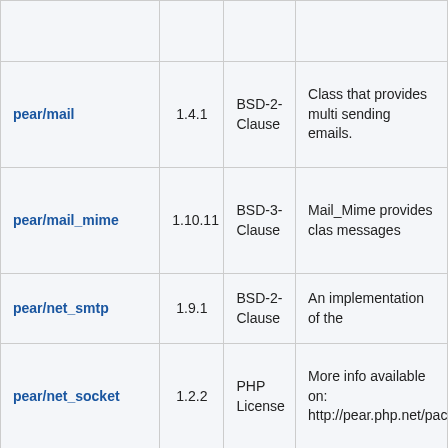| Package | Version | License | Description |
| --- | --- | --- | --- |
| pear/mail | 1.4.1 | BSD-2-Clause | Class that provides multi sending emails. |
| pear/mail_mime | 1.10.11 | BSD-3-Clause | Mail_Mime provides clas messages |
| pear/net_smtp | 1.9.1 | BSD-2-Clause | An implementation of the |
| pear/net_socket | 1.2.2 | PHP License | More info available on: http://pear.php.net/packa |
|  |  | BSD-3- | Minimal set of PEAR cor |